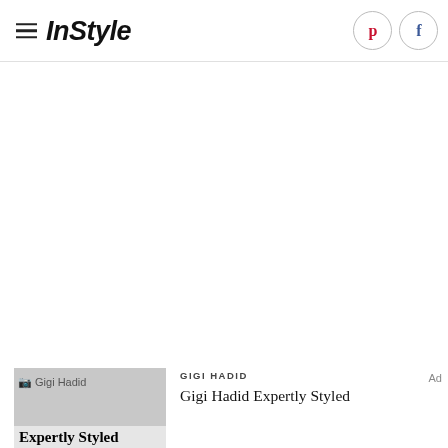InStyle
GIGI HADID
Gigi Hadid Expertly Styled
[Figure (photo): Thumbnail image placeholder for Gigi Hadid article with text 'Gigi Hadid Expertly Styled' overlaid]